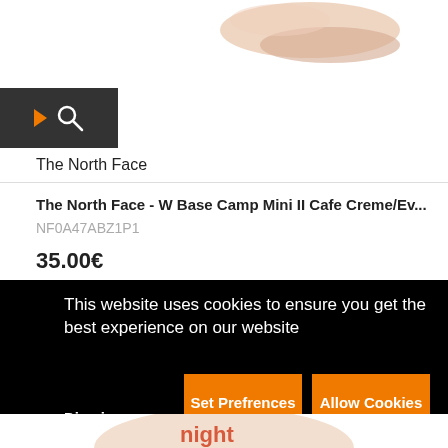[Figure (photo): Partial product image (shoe/boot) visible at top of page]
[Figure (logo): Dark grey box with right-pointing orange arrow and white search/magnify icon]
The North Face
The North Face - W Base Camp Mini II Cafe Creme/Ev...
NF0A47ABZ1P1
35.00€
This website uses cookies to ensure you get the best experience on our website
Dismiss
Set Prefrences
Allow Cookies
[Figure (photo): Partial product image visible at bottom of page]